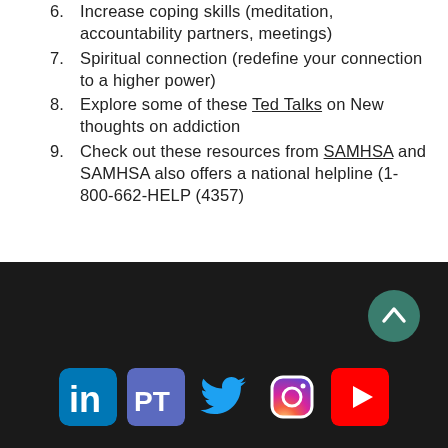6. Increase coping skills (meditation, accountability partners, meetings)
7. Spiritual connection (redefine your connection to a higher power)
8. Explore some of these Ted Talks on New thoughts on addiction
9. Check out these resources from SAMHSA and SAMHSA also offers a national helpline (1-800-662-HELP (4357)
[Figure (screenshot): Dark footer bar with social media icons: LinkedIn, PT (Psychology Today), Twitter, Instagram, YouTube. A green circular scroll-to-top button with an upward chevron is positioned at top-right of the footer.]